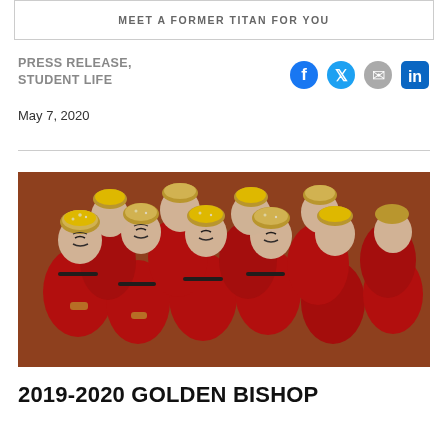MEET A FORMER TITAN FOR YOU
PRESS RELEASE, STUDENT LIFE
May 7, 2020
[Figure (photo): Collection of mascot dolls wearing red uniforms with gold glitter hats, arranged in a pile, viewed from above at an angle.]
2019-2020 GOLDEN BISHOP